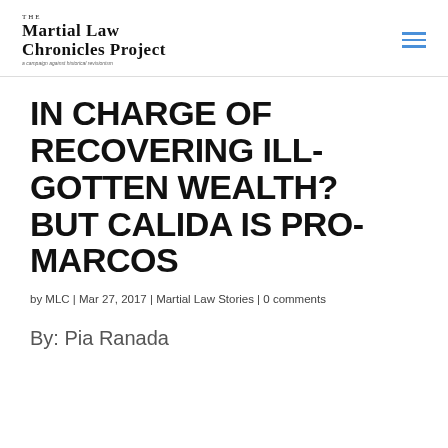The Martial Law Chronicles Project — a campaign against historical revisionism
IN CHARGE OF RECOVERING ILL-GOTTEN WEALTH? BUT CALIDA IS PRO-MARCOS
by MLC | Mar 27, 2017 | Martial Law Stories | 0 comments
By: Pia Ranada